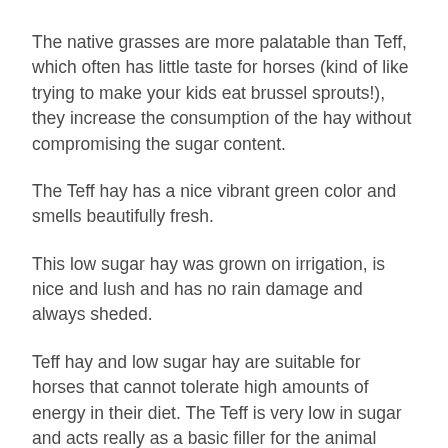The native grasses are more palatable than Teff, which often has little taste for horses (kind of like trying to make your kids eat brussel sprouts!), they increase the consumption of the hay without compromising the sugar content.
The Teff hay has a nice vibrant green color and smells beautifully fresh.
This low sugar hay was grown on irrigation, is nice and lush and has no rain damage and always sheded.
Teff hay and low sugar hay are suitable for horses that cannot tolerate high amounts of energy in their diet. The Teff is very low in sugar and acts really as a basic filler for the animal without adding too many kilograms! Teff hay and low sugar hay work particularly well for ponies who are